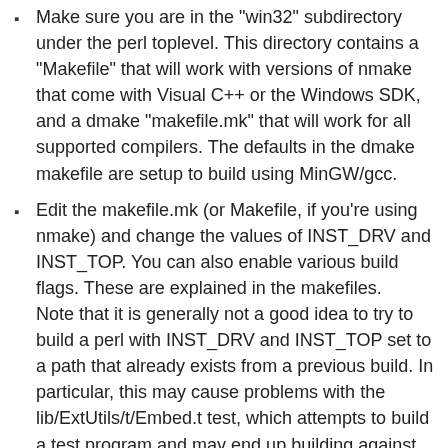Make sure you are in the "win32" subdirectory under the perl toplevel. This directory contains a "Makefile" that will work with versions of nmake that come with Visual C++ or the Windows SDK, and a dmake "makefile.mk" that will work for all supported compilers. The defaults in the dmake makefile are setup to build using MinGW/gcc.
Edit the makefile.mk (or Makefile, if you're using nmake) and change the values of INST_DRV and INST_TOP. You can also enable various build flags. These are explained in the makefiles.
Note that it is generally not a good idea to try to build a perl with INST_DRV and INST_TOP set to a path that already exists from a previous build. In particular, this may cause problems with the lib/ExtUtils/t/Embed.t test, which attempts to build a test program and may end up building against the installed perl's lib/CORE directory rather than the one being tested.
You will have to make sure that CCTYPE is set correctly and that CCHOME points to wherever